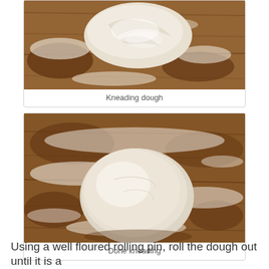[Figure (photo): Photo of dough being kneaded on a floured wooden surface, viewed from above showing rough, flour-dusted dough]
Kneading dough
[Figure (photo): Photo of a smooth ball of dough sitting on a floured wooden surface after kneading is complete]
Done kneading
Using a well floured rolling pin, roll the dough out until it is a